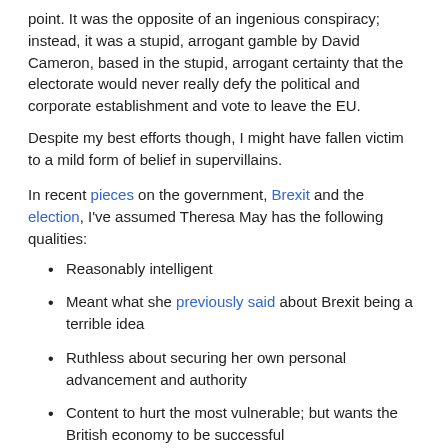point. It was the opposite of an ingenious conspiracy; instead, it was a stupid, arrogant gamble by David Cameron, based in the stupid, arrogant certainty that the electorate would never really defy the political and corporate establishment and vote to leave the EU.
Despite my best efforts though, I might have fallen victim to a mild form of belief in supervillains.
In recent pieces on the government, Brexit and the election, I've assumed Theresa May has the following qualities:
Reasonably intelligent
Meant what she previously said about Brexit being a terrible idea
Ruthless about securing her own personal advancement and authority
Content to hurt the most vulnerable; but wants the British economy to be successful
These are not very outlandish assumptions. They add up to